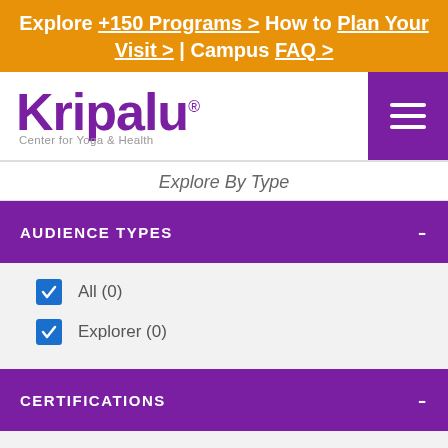Explore +150 Programs > How to Plan Your Visit > | Campus FAQ >
[Figure (logo): Kripalu Center for Yoga & Health logo in purple]
Explore By Type
AUDIENCE TYPES
All (0)
Explorer (0)
CERTIFICATIONS
Yoga Professionals (0)